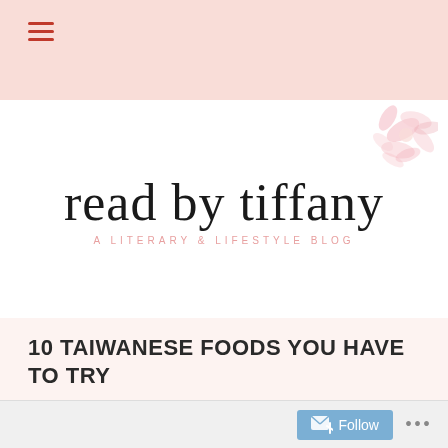Navigation menu (hamburger icon)
[Figure (logo): read by tiffany - A Literary & Lifestyle Blog logo with cursive script text and pink floral watercolor decoration]
10 TAIWANESE FOODS YOU HAVE TO TRY
tiffany @ readbytiffany
All, Favorites & Recommendations
2018, blogging, food, Project14Lists
53 Comments
Follow ...